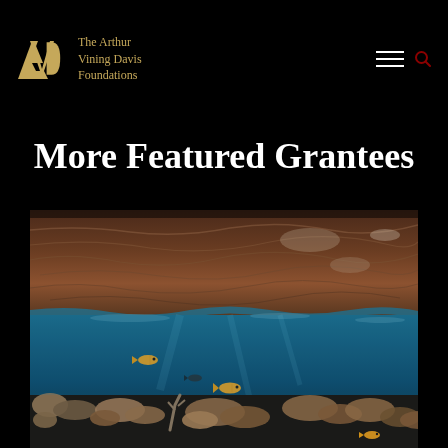The Arthur Vining Davis Foundations
More Featured Grantees
[Figure (photo): Underwater coral reef scene showing a split view with water surface reflections above and vibrant coral reef below with orange fish swimming among the corals against a blue water background]